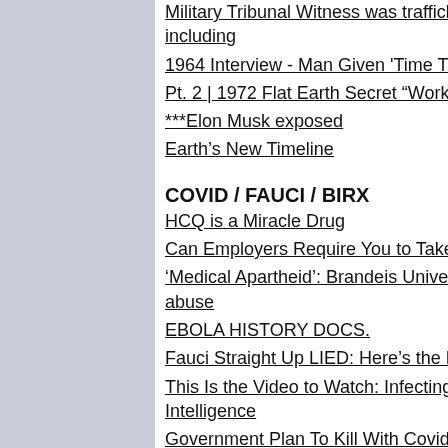Military Tribunal Witness was trafficked for10 years to hundreds of pedo demons including
1964 Interview - Man Given 'Time Travel Formula' by Galactic Visitor
Pt. 2 | 1972 Flat Earth Secret “Worksheeld” USA Archives | Dragons in the Mesosphere
***Elon Musk exposed
Earth’s New Timeline
COVID / FAUCI / BIRX
HCQ is a Miracle Drug
Can Employers Require You to Take the COVID Injection?
'Medical Apartheid': Brandeis University dean compares forced vaccination to civil rights abuse
EBOLA HISTORY DOCS.
Fauci Straight Up LIED: Here’s the Proof
This Is the Video to Watch: Infecting W/COVID Swab, the RNA Vaccine, Artificial Intelligence
Government Plan To Kill With Covid-19 Vaccine Aired On TV In 2009 InfoWars